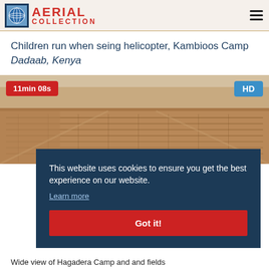AERIAL COLLECTION
Children run when seing helicopter, Kambioos Camp
Dadaab, Kenya
[Figure (screenshot): Aerial view thumbnail of Kambioos/Dadaab camp area showing arid landscape with badge '11min 08s' in red and 'HD' in blue]
This website uses cookies to ensure you get the best experience on our website.
Learn more
Got it!
Wide view of Hagadera Camp and and fields